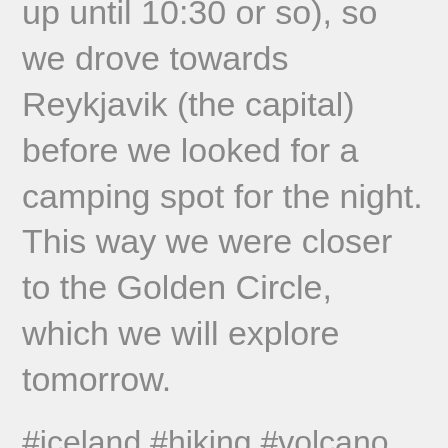up until 10:30 or so), so we drove towards Reykjavik (the capital) before we looked for a camping spot for the night. This way we were closer to the Golden Circle, which we will explore tomorrow.
#iceland #hiking #volcano #green #nature #travel #adventure #photooftheday #photo #tripofalife #vacationofalifetime